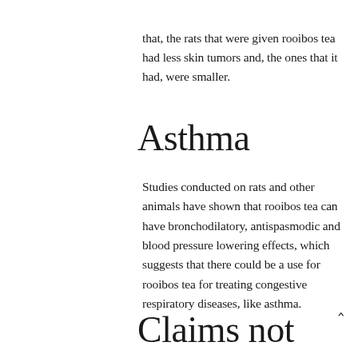that, the rats that were given rooibos tea had less skin tumors and, the ones that it had, were smaller.
Asthma
Studies conducted on rats and other animals have shown that rooibos tea can have bronchodilatory, antispasmodic and blood pressure lowering effects, which suggests that there could be a use for rooibos tea for treating congestive respiratory diseases, like asthma.
Claims not